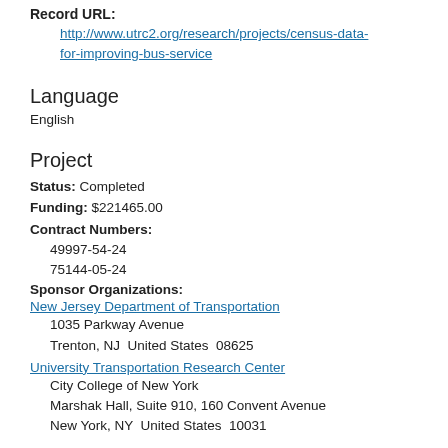Record URL: http://www.utrc2.org/research/projects/census-data-for-improving-bus-service
Language
English
Project
Status: Completed
Funding: $221465.00
Contract Numbers: 49997-54-24  75144-05-24
Sponsor Organizations: New Jersey Department of Transportation  1035 Parkway Avenue  Trenton, NJ  United States  08625  University Transportation Research Center  City College of New York  Marshak Hall, Suite 910, 160 Convent Avenue  New York, NY  United States  10031